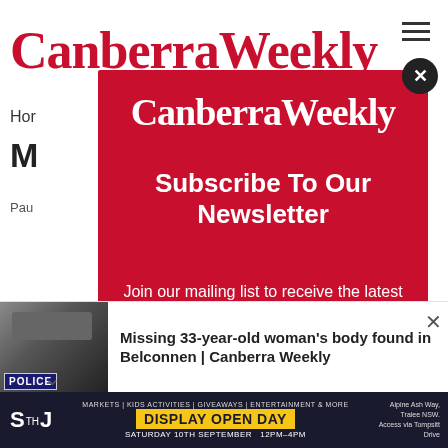[Figure (screenshot): Canberra Weekly website header with red serif logo and hamburger menu icon]
Hor
M
Pau
[Figure (infographic): Red modal popup overlay for Canberra Weekly newsletter subscription with close button (X), logo, heading 'Subscribe To Our Newsletter', and subtext 'Join our mailing list to receive the latest news straight to your inbox.']
[Figure (photo): Police car image thumbnail in breaking news notification bar]
Missing 33-year-old woman's body found in Belconnen | Canberra Weekly
[Figure (infographic): Advertisement banner for STH J Display Open Day, Saturday 10th September 12PM-4PM, Alpine Ash Way, Tralee NSW, Access via Tompsitt Drive]